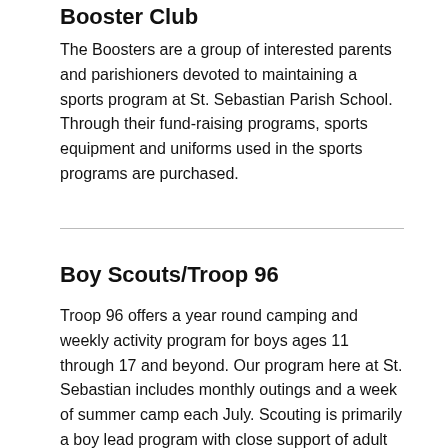Booster Club
The Boosters are a group of interested parents and parishioners devoted to maintaining a sports program at St. Sebastian Parish School. Through their fund-raising programs, sports equipment and uniforms used in the sports programs are purchased.
Boy Scouts/Troop 96
Troop 96 offers a year round camping and weekly activity program for boys ages 11 through 17 and beyond. Our program here at St. Sebastian includes monthly outings and a week of summer camp each July. Scouting is primarily a boy lead program with close support of adult leaders. Scouting teaches life skills in socialization and leadership while having fun at the same time. Opportunities for adult volunteering